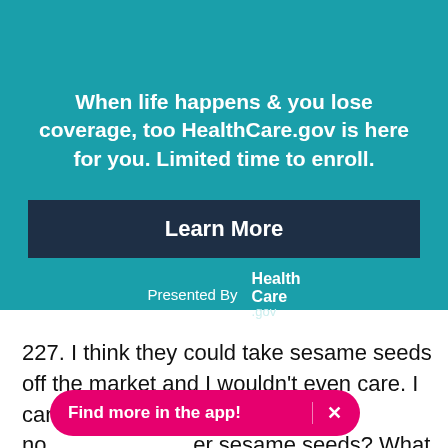[Figure (infographic): Teal background advertisement banner for HealthCare.gov with headline text, a dark navy 'Learn More' button, and 'Presented By HealthCare.gov' branding at the bottom.]
When life happens & you lose coverage, too HealthCare.gov is here for you. Limited time to enroll.
Learn More
Presented By HealthCare.gov
227. I think they could take sesame seeds off the market and I wouldn't even care. I can't imagine five years from now caring about sesame seeds? What happened. All the buns are blank."
Find more in the app!  ✕